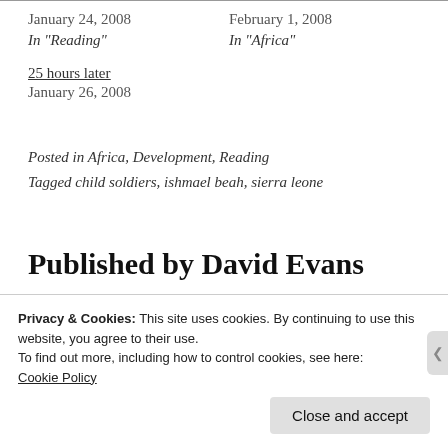January 24, 2008
In "Reading"
February 1, 2008
In "Africa"
25 hours later
January 26, 2008
Posted in Africa, Development, Reading
Tagged child soldiers, ishmael beah, sierra leone
Published by David Evans
Privacy & Cookies: This site uses cookies. By continuing to use this website, you agree to their use.
To find out more, including how to control cookies, see here:
Cookie Policy
Close and accept